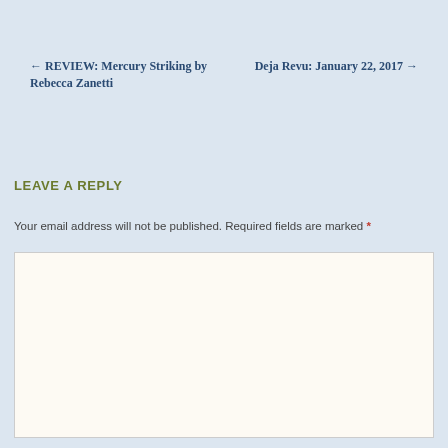← REVIEW: Mercury Striking by Rebecca Zanetti
Deja Revu: January 22, 2017 →
LEAVE A REPLY
Your email address will not be published. Required fields are marked *